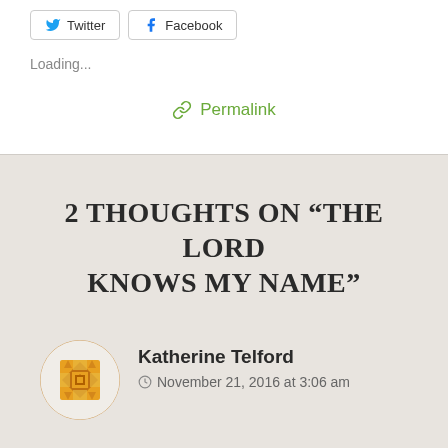[Figure (other): Social share buttons for Twitter and Facebook]
Loading...
🔗 Permalink
2 THOUGHTS ON "THE LORD KNOWS MY NAME"
[Figure (illustration): Avatar icon with geometric quilt pattern in orange/yellow tones]
Katherine Telford
November 21, 2016 at 3:06 am